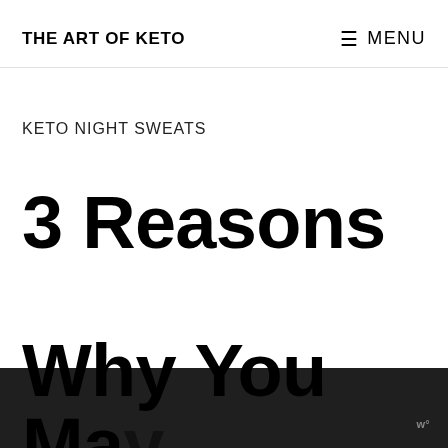THE ART OF KETO
≡ MENU
KETO NIGHT SWEATS
3 Reasons Why You May